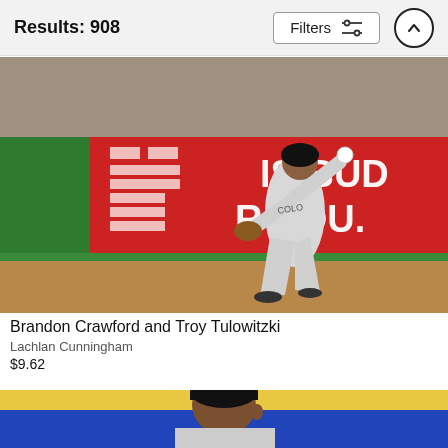Results: 908
Filters
[Figure (photo): Baseball player in Colorado Rockies uniform making a throw on the infield dirt, with red outfield wall advertising in the background and crowd visible]
Brandon Crawford and Troy Tulowitzki
Lachlan Cunningham
$9.62
[Figure (photo): Baseball player from the shoulders up, bowing head, wearing a dark cap, partial view at bottom of page]